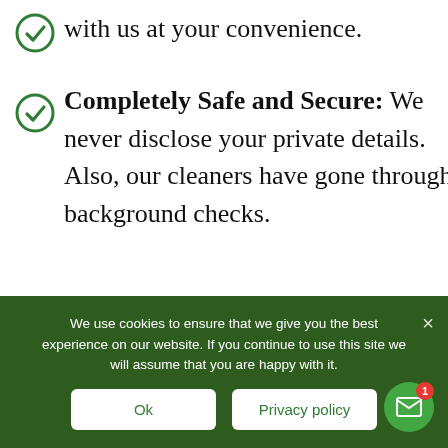with us at your convenience.
Completely Safe and Secure: We never disclose your private details. Also, our cleaners have gone through background checks.
Cost-Effective Service: We offer flawless cleaning services at unbelievably low charges. You can hire our services at a feasible rate.
We use cookies to ensure that we give you the best experience on our website. If you continue to use this site we will assume that you are happy with it.
Ok
Privacy policy
Cleaning Services FAQs